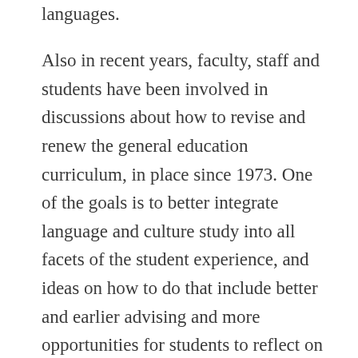languages.
Also in recent years, faculty, staff and students have been involved in discussions about how to revise and renew the general education curriculum, in place since 1973. One of the goals is to better integrate language and culture study into all facets of the student experience, and ideas on how to do that include better and earlier advising and more opportunities for students to reflect on global experiences during the course of their studies.